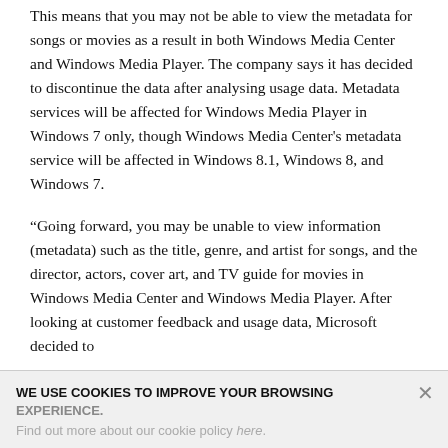This means that you may not be able to view the metadata for songs or movies as a result in both Windows Media Center and Windows Media Player. The company says it has decided to discontinue the data after analysing usage data. Metadata services will be affected for Windows Media Player in Windows 7 only, though Windows Media Center's metadata service will be affected in Windows 8.1, Windows 8, and Windows 7.
“Going forward, you may be unable to view information (metadata) such as the title, genre, and artist for songs, and the director, actors, cover art, and TV guide for movies in Windows Media Center and Windows Media Player. After looking at customer feedback and usage data, Microsoft decided to
WE USE COOKIES TO IMPROVE YOUR BROWSING EXPERIENCE. Find out more about our cookie policy here.